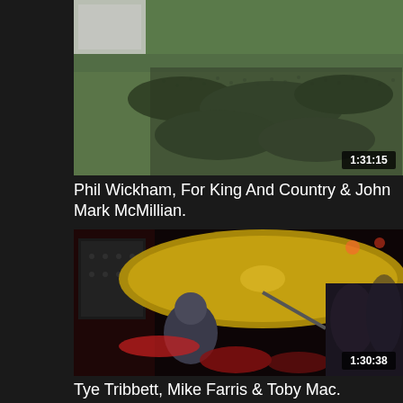[Figure (screenshot): Aerial view of a large outdoor music festival crowd, green field, timestamp 1:31:15 in bottom right corner]
Phil Wickham, For King And Country & John Mark McMillian.
Episode 4
[Figure (screenshot): Close-up view from behind a drummer at a live concert, large cymbal in foreground, stage lights and crowd visible, timestamp 1:30:38 in bottom right corner]
Tye Tribbett, Mike Farris & Toby Mac.